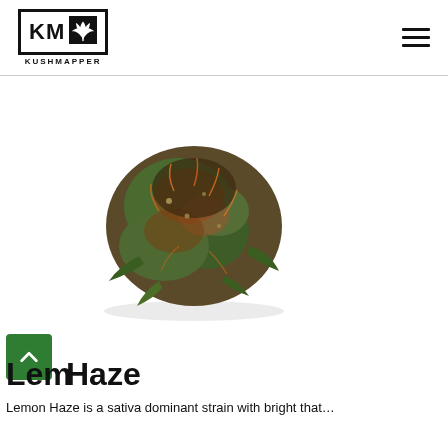KM KUSHMAPPER
[Figure (photo): Close-up photo of a cannabis bud (flower) with green and orange coloring on a white background]
Lemon Haze
Lemon Haze is a sativa dominant strain with bright…